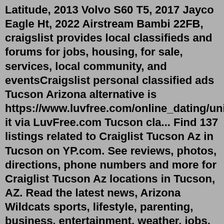Latitude, 2013 Volvo S60 T5, 2017 Jayco Eagle Ht, 2022 Airstream Bambi 22FB, craigslist provides local classifieds and forums for jobs, housing, for sale, services, local community, and eventsCraigslist personal classified ads Tucson Arizona alternative is https://www.luvfree.com/online_dating/united_states/tu it via LuvFree.com Tucson cla... Find 137 listings related to Craiglist Tucson Az in Tucson on YP.com. See reviews, photos, directions, phone numbers and more for Craiglist Tucson Az locations in Tucson, AZ. Read the latest news, Arizona Wildcats sports, lifestyle, parenting, business, entertainment, weather, jobs, autos and real estate listings from the Arizona Daily StarCraigslist - Farm and Garden Equipment for Sale in Tucson, AZ: 7 Foot Tall 66 Inches in Drexel-Alvernon, Raw Jersey Cow Milk Raw, Cacti 1150 E Pennsylvania St. Tucson, AZ 85714. From Business: Tucson K 9 learning center is proud to offer TUCSON'S most comprehensive DOG training experience under ONE roof. Whether your DOG needs obedience training... 8. Camp Bow Wow